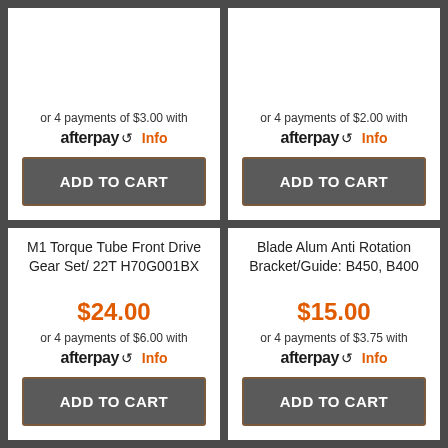or 4 payments of $3.00 with afterpay Info
ADD TO CART
or 4 payments of $2.00 with afterpay Info
ADD TO CART
M1 Torque Tube Front Drive Gear Set/ 22T H70G001BX
$24.00
or 4 payments of $6.00 with afterpay Info
ADD TO CART
Blade Alum Anti Rotation Bracket/Guide: B450, B400
$15.00
or 4 payments of $3.75 with afterpay Info
ADD TO CART